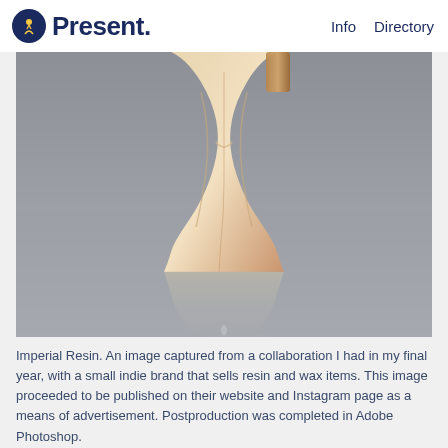Present. | Info  Directory
[Figure (photo): Close-up photograph of resin figurine torso with reflection on a grey glossy surface, cream and gold tones]
Imperial Resin. An image captured from a collaboration I had in my final year, with a small indie brand that sells resin and wax items. This image proceeded to be published on their website and Instagram page as a means of advertisement. Postproduction was completed in Adobe Photoshop.